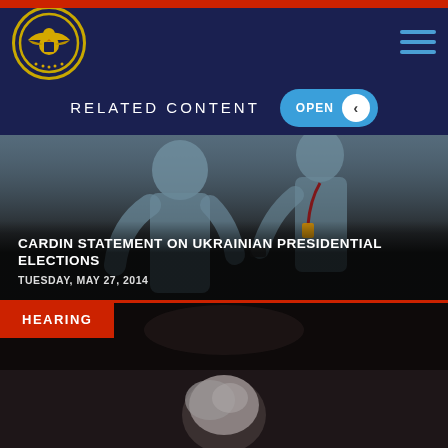Commission on Security and Cooperation in Europe
RELATED CONTENT
CARDIN STATEMENT ON UKRAINIAN PRESIDENTIAL ELECTIONS
TUESDAY, MAY 27, 2014
[Figure (screenshot): Photo of two people in light blue shirts looking at something, election observers]
HEARING
[Figure (photo): Dark photo of a person with gray/white hair, appears to be a hearing room setting]